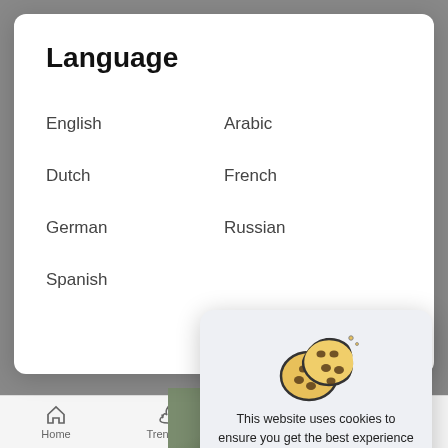Language
English
Arabic
Dutch
French
German
Russian
Spanish
[Figure (illustration): Cookie consent dialog with cookie emoji illustration]
This website uses cookies to ensure you get the best experience on our website. Learn More
Got It!
Home   Trending   Top Videos   Movies